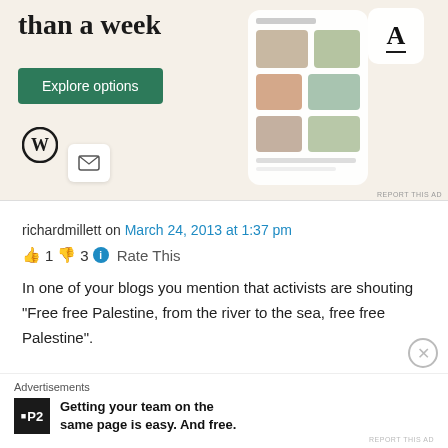[Figure (screenshot): Advertisement banner with beige background showing 'than a week' text, Explore options button, WordPress logo, and food app mockup screenshots on the right.]
richardmillett on March 24, 2013 at 1:37 pm
👍 1 👎 3 ℹ Rate This
In one of your blogs you mention that activists are shouting "Free free Palestine, from the river to the sea, free free Palestine".
Advertisements
[Figure (screenshot): P2 advertisement: Getting your team on the same page is easy. And free.]